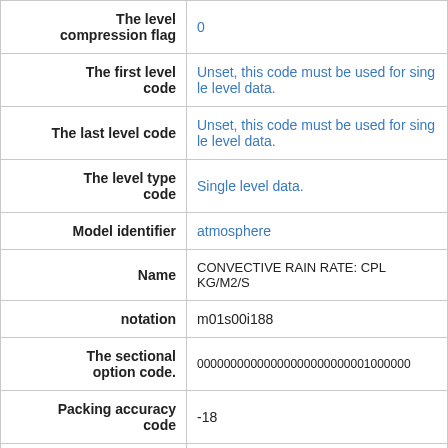| Field | Value |
| --- | --- |
| The level compression flag | 0 |
| The first level code | Unset, this code must be used for single level data. |
| The last level code | Unset, this code must be used for single level data. |
| The level type code | Single level data. |
| Model identifier | atmosphere |
| Name | CONVECTIVE RAIN RATE: CPL KG/M2/S |
| notation | m01s00i188 |
| The sectional option code. | 00000000000000000000000001000000 |
| Packing accuracy code | -18 |
| Packing accuracy code | -99 |